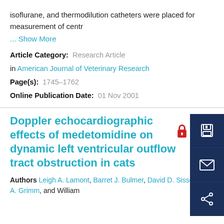isoflurane, and thermodilution catheters were placed for measurement of centr
... Show More
Article Category:  Research Article
in American Journal of Veterinary Research
Page(s):  1745–1762
Online Publication Date:  01 Nov 2001
Doppler echocardiographic effects of medetomidine on dynamic left ventricular outflow tract obstruction in cats
Authors Leigh A. Lamont, Barret J. Bulmer, David D. Sisson, Kurt A. Grimm, and William